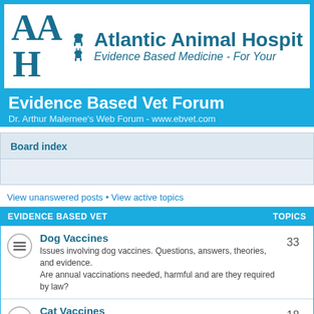[Figure (logo): Atlantic Animal Hospital logo with stylized AAH letters and animal silhouettes]
Evidence Based Vet Forum
Dr. Arthur Malernee's Web Forum - www.ebvet.com
Board index
View unanswered posts • View active topics
| EVIDENCE BASED VET | TOPICS |
| --- | --- |
| Dog Vaccines
Issues involving dog vaccines. Questions, answers, theories, and evidence.
Are annual vaccinations needed, harmful and are they required by law? | 33 |
| Cat Vaccines
Issues involving cat vaccines. Questions, answers, theories, and evidence.
Why do vaccines cause cancer in cats but not dogs or humans? | 18 |
| Sterilization |  |